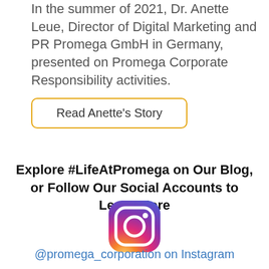In the summer of 2021, Dr. Anette Leue, Director of Digital Marketing and PR Promega GmbH in Germany, presented on Promega Corporate Responsibility activities.
Read Anette's Story
Explore #LifeAtPromega on Our Blog, or Follow Our Social Accounts to Learn More
[Figure (logo): Instagram logo icon with gradient from yellow/orange at bottom-left to pink/red in middle to purple at top-right]
@promega_corporation on Instagram